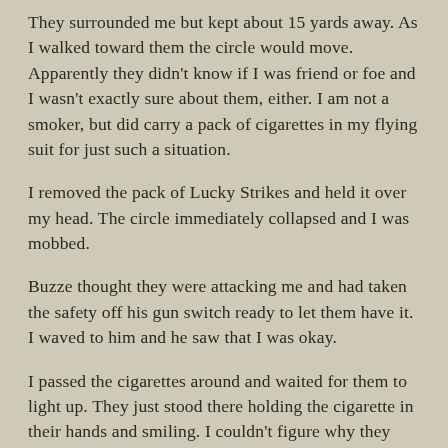They surrounded me but kept about 15 yards away. As I walked toward them the circle would move. Apparently they didn't know if I was friend or foe and I wasn't exactly sure about them, either. I am not a smoker, but did carry a pack of cigarettes in my flying suit for just such a situation.
I removed the pack of Lucky Strikes and held it over my head. The circle immediately collapsed and I was mobbed.
Buzze thought they were attacking me and had taken the safety off his gun switch ready to let them have it. I waved to him and he saw that I was okay.
I passed the cigarettes around and waited for them to light up. They just stood there holding the cigarette in their hands and smiling. I couldn't figure why they didn't light up.